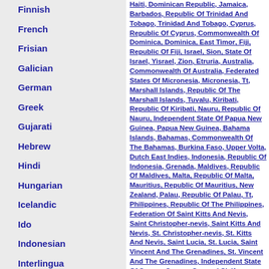Finnish
French
Frisian
Galician
German
Greek
Gujarati
Hebrew
Hindi
Hungarian
Icelandic
Ido
Indonesian
Interlingua
Italian
Japanese
Korean
Latin
Latvian
Haiti, Dominican Republic, Jamaica, Barbados, Republic Of Trinidad And Tobago, Trinidad And Tobago, Cyprus, Republic Of Cyprus, Commonwealth Of Dominica, Dominica, East Timor, Fiji, Republic Of Fiji, Israel, Sion, State Of Israel, Yisrael, Zion, Etruria, Australia, Commonwealth Of Australia, Federated States Of Micronesia, Micronesia, Tt, Marshall Islands, Republic Of The Marshall Islands, Tuvalu, Kiribati, Republic Of Kiribati, Nauru, Republic Of Nauru, Independent State Of Papua New Guinea, Papua New Guinea, Bahama Islands, Bahamas, Commonwealth Of The Bahamas, Burkina Faso, Upper Volta, Dutch East Indies, Indonesia, Republic Of Indonesia, Grenada, Maldives, Republic Of Maldives, Malta, Republic Of Malta, Mauritius, Republic Of Mauritius, New Zealand, Palau, Republic Of Palau, Tt, Philippines, Republic Of The Philippines, Federation Of Saint Kitts And Nevis, Saint Christopher-nevis, Saint Kitts And Nevis, St. Christopher-nevis, St. Kitts And Nevis, Saint Lucia, St. Lucia, Saint Vincent And The Grenadines, St. Vincent And The Grenadines, Independent State Of Samoa, Samoa, Samoa I Sisifo, Western Samoa, Democratic Republic Of Sao Tome And Principe, Sao Thome E Principe, Sao Tome And Principe, Sao Tome E Principe, St. Thomas And Principe, Republic Of Seychelles, Seychelles, Solomon Islands, Rus, Russia, Soviet...